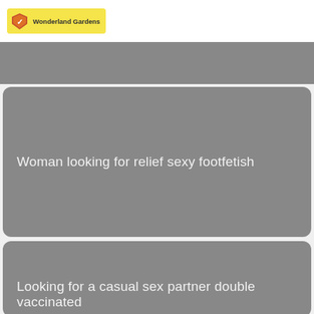[Figure (logo): Wonderland Gardens logo: yellow rounded rectangle badge with red/orange shield-like icon and text 'Wonderland Gardens']
[Figure (photo): Gray placeholder image card at top]
Woman looking for relief sexy footfetish
Looking for a casual sex partner double vaccinated